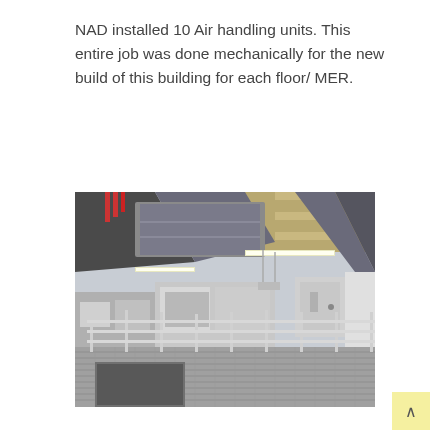NAD installed 10 Air handling units. This entire job was done mechanically for the new build of this building for each floor/MER.
[Figure (photo): Interior industrial photo showing large HVAC air handling units mounted above a metal grating walkway with railings, inside a building mechanical room. Steel ductwork, beams, and equipment are visible.]